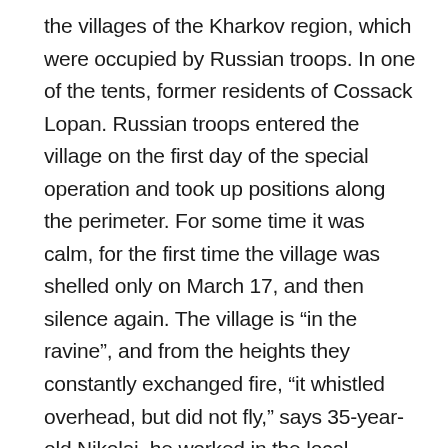the villages of the Kharkov region, which were occupied by Russian troops. In one of the tents, former residents of Cossack Lopan. Russian troops entered the village on the first day of the special operation and took up positions along the perimeter. For some time it was calm, for the first time the village was shelled only on March 17, and then silence again. The village is “in the ravine”, and from the heights they constantly exchanged fire, “it whistled overhead, but did not fly,” says 35-year-old Nikolai, he worked in the local administration. “The [Russian] military said: we have air defense, everything is fine, everything is protected. They began to import slate, to restore the school. And from April 22 every day arrivals »,— Nicholas continues. “His daughter-in-law died,” — says 29-year-old Tatyana.